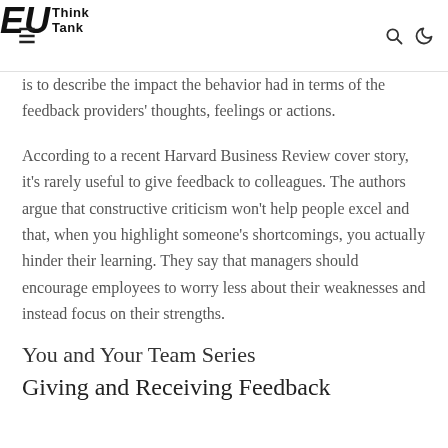EU Think Tank
is to describe the impact the behavior had in terms of the feedback providers' thoughts, feelings or actions.
According to a recent Harvard Business Review cover story, it's rarely useful to give feedback to colleagues. The authors argue that constructive criticism won't help people excel and that, when you highlight someone's shortcomings, you actually hinder their learning. They say that managers should encourage employees to worry less about their weaknesses and instead focus on their strengths.
You and Your Team Series
Giving and Receiving Feedback